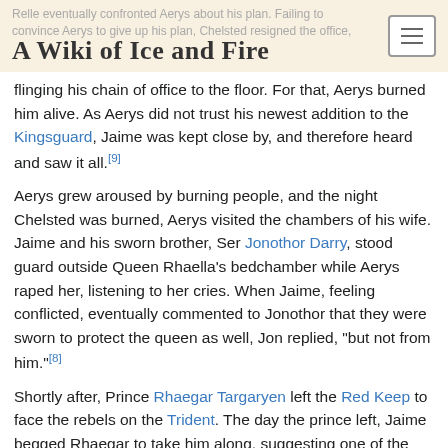A Wiki of Ice and Fire
flinging his chain of office to the floor. For that, Aerys burned him alive. As Aerys did not trust his newest addition to the Kingsguard, Jaime was kept close by, and therefore heard and saw it all.[9]
Aerys grew aroused by burning people, and the night Chelsted was burned, Aerys visited the chambers of his wife. Jaime and his sworn brother, Ser Jonothor Darry, stood guard outside Queen Rhaella's bedchamber while Aerys raped her, listening to her cries. When Jaime, feeling conflicted, eventually commented to Jonothor that they were sworn to protect the queen as well, Jon replied, "but not from him."[8]
Shortly after, Prince Rhaegar Targaryen left the Red Keep to face the rebels on the Trident. The day the prince left, Jaime begged Rhaegar to take him along, suggesting one of the other Kingsguard knights could remain at the king's side instead. Rhaegar refused the suggestion, admitting that King Aerys wanted to keep Jaime close as a hostage against his father, Lord Tywin. Rhaegar promised an angry and disappointed Jaime that changes would be made when he returned from the battlefield,[4] and charged Jaime with keeping his wife, Elia Martell, and their children safe.[57]